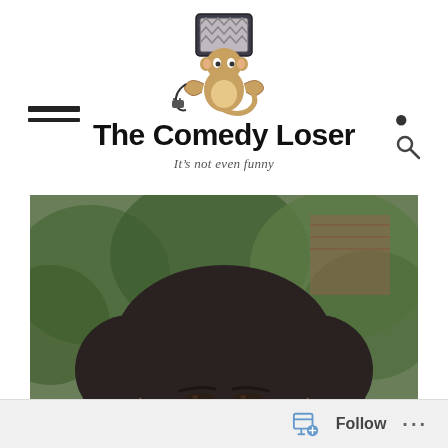[Figure (logo): Cartoon monkey holding a TV on its head with a cord/plug, serving as the site logo for The Comedy Loser blog]
The Comedy Loser
It's not even funny
[Figure (photo): Close-up photo of an Asian woman with dark hair, outdoors with blurred green trees and brick building in the background]
Follow  ...